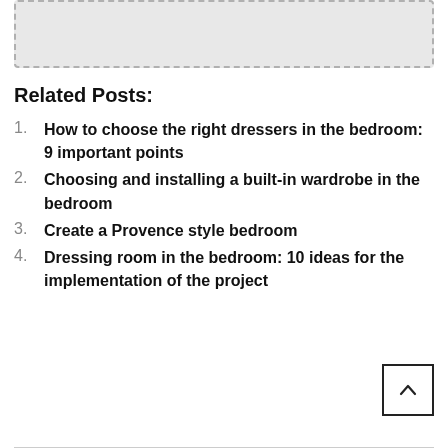[Figure (other): Gray dashed-border rectangle placeholder box at top of page]
Related Posts:
How to choose the right dressers in the bedroom: 9 important points
Choosing and installing a built-in wardrobe in the bedroom
Create a Provence style bedroom
Dressing room in the bedroom: 10 ideas for the implementation of the project